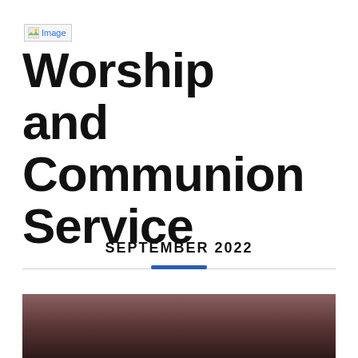[Figure (logo): Broken image placeholder with text 'Image']
Worship and Communion Service
SEPTEMBER 2022
[Figure (photo): Dark brownish-red blurred photo, partially cropped at bottom of page]